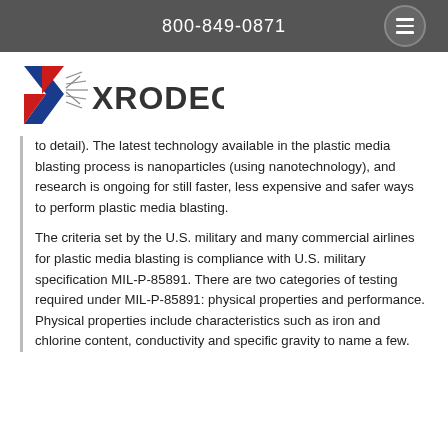800-849-0871
[Figure (logo): X-RODECO company logo with stylized X and rays on the left, bold dark text XRODECO on the right]
to detail). The latest technology available in the plastic media blasting process is nanoparticles (using nanotechnology), and research is ongoing for still faster, less expensive and safer ways to perform plastic media blasting.
The criteria set by the U.S. military and many commercial airlines for plastic media blasting is compliance with U.S. military specification MIL-P-85891. There are two categories of testing required under MIL-P-85891: physical properties and performance. Physical properties include characteristics such as iron and chlorine content, conductivity and specific gravity to name a few.